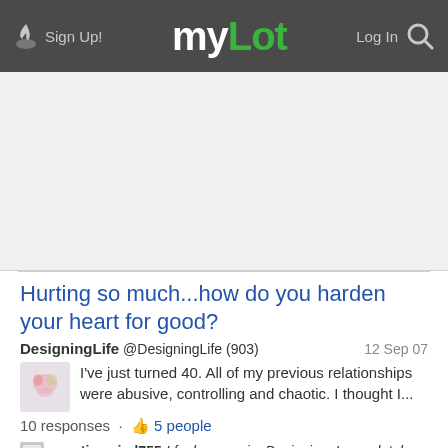Sign Up! myLot Log In
[Figure (other): Advertisement/banner area (blank light gray)]
Hurting so much...how do you harden your heart for good?
DesigningLife @DesigningLife (903)  12 Sep 07
I've just turned 40. All of my previous relationships were abusive, controlling and chaotic. I thought I...
10 responses · 5 people
creativemind755 I feel your pain, Designing. I completely understand where u're coming from. I think that the excruciating...
13 Sep 07 · 3 comments · 1 person
LOST: Where did the "love" go???...AND, ...WHERE do I go from